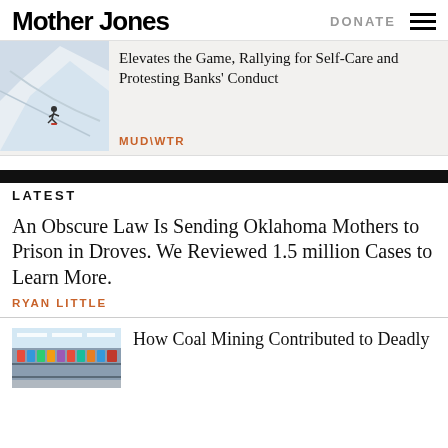Mother Jones | DONATE
[Figure (photo): Skier on a snowy mountain slope]
Elevates the Game, Rallying for Self-Care and Protesting Banks' Conduct
MUD\WTR
LATEST
An Obscure Law Is Sending Oklahoma Mothers to Prison in Droves. We Reviewed 1.5 million Cases to Learn More.
RYAN LITTLE
[Figure (photo): Interior of a store with fluorescent lighting and shelves]
How Coal Mining Contributed to Deadly